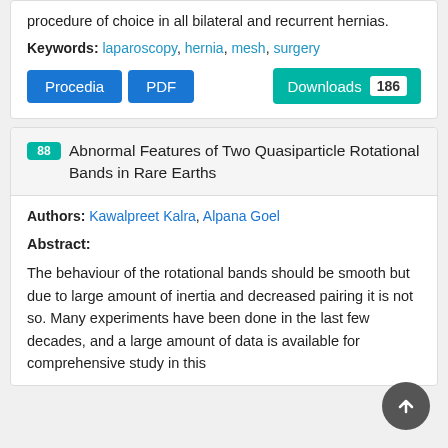procedure of choice in all bilateral and recurrent hernias.
Keywords: laparoscopy, hernia, mesh, surgery
Procedia  PDF  Downloads 186
88 Abnormal Features of Two Quasiparticle Rotational Bands in Rare Earths
Authors: Kawalpreet Kalra, Alpana Goel
Abstract:
The behaviour of the rotational bands should be smooth but due to large amount of inertia and decreased pairing it is not so. Many experiments have been done in the last few decades, and a large amount of data is available for comprehensive study in this